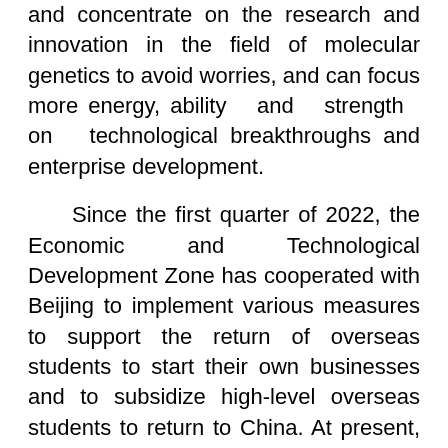and concentrate on the research and innovation in the field of molecular genetics to avoid worries, and can focus more energy, ability and strength on technological breakthroughs and enterprise development.
Since the first quarter of 2022, the Economic and Technological Development Zone has cooperated with Beijing to implement various measures to support the return of overseas students to start their own businesses and to subsidize high-level overseas students to return to China. At present, various "talent matrix" supporting service facilities are also steadily under construction. .